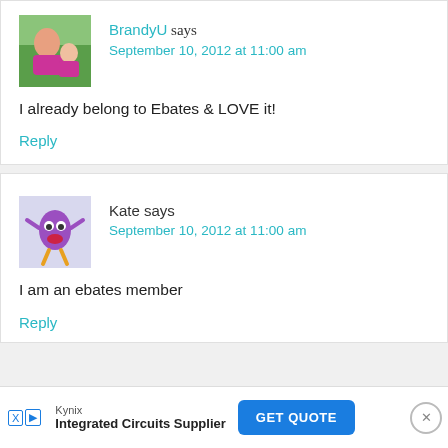[Figure (photo): Avatar photo of BrandyU, showing a woman and child]
BrandyU says September 10, 2012 at 11:00 am
I already belong to Ebates & LOVE it!
Reply
[Figure (illustration): Avatar cartoon illustration of Kate, a purple cartoon character]
Kate says September 10, 2012 at 11:00 am
I am an ebates member
Reply
Kynix Integrated Circuits Supplier GET QUOTE